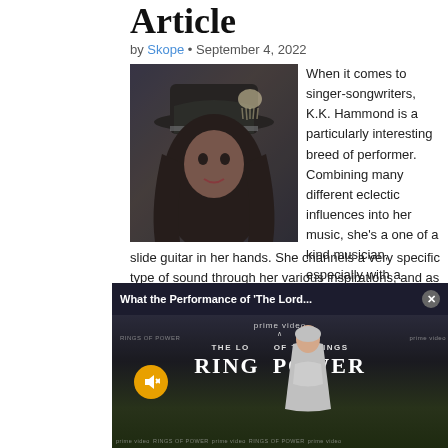Article
by Skope • September 4, 2022
[Figure (photo): Photo of K.K. Hammond wearing a wide-brim black hat with long dark hair, in front of animal skull decorations]
When it comes to singer-songwriters, K.K. Hammond is a particularly interesting breed of performer. Combining many different eclectic influences into her music, she's a one of a kind musician, especially with a slide guitar in her hands. She channels a very specific type of sound through her various inspirations, and as she grows that scope...
Read more →
[Figure (screenshot): Video popup overlay showing 'What the Performance of The Lord...' with an Amazon Prime Video player showing Rings of Power premiere, with a woman in silver dress on red carpet and mute button visible]
Review: O...